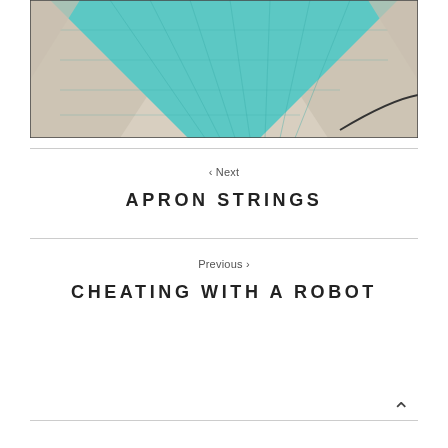[Figure (illustration): Abstract map or aerial photograph with teal/turquoise and sandy beige colors forming a geometric diamond/V-shape pattern]
< Next
APRON STRINGS
Previous >
CHEATING WITH A ROBOT